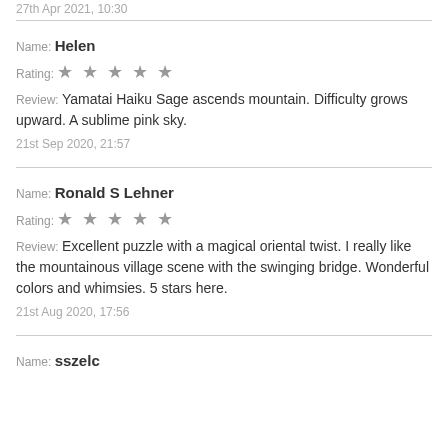27th Apr 2021, 10:30
Name: Helen
Rating: ★★★★★
Review: Yamatai Haiku Sage ascends mountain. Difficulty grows upward. A sublime pink sky.
21st Sep 2020, 21:57
Name: Ronald S Lehner
Rating: ★★★★★
Review: Excellent puzzle with a magical oriental twist. I really like the mountainous village scene with the swinging bridge. Wonderful colors and whimsies. 5 stars here.
21st Aug 2020, 17:56
Name: sszelc